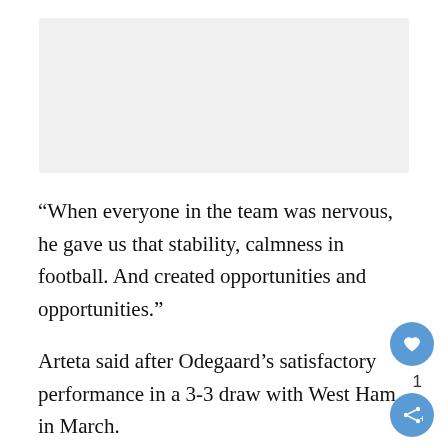[Figure (photo): Gray placeholder image area at the top of the page]
“When everyone in the team was nervous, he gave us that stability, calmness in football. And created opportunities and opportunities.”
Arteta said after Odegaard’s satisfactory performance in a 3-3 draw with West Ham in March.
That was not news to the Norwegian fans, where